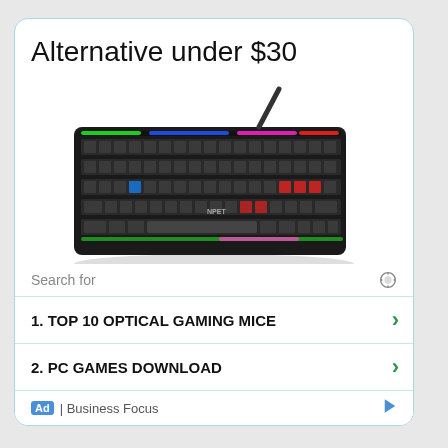Alternative under $30
[Figure (photo): NPET K10 gaming keyboard with rainbow LED backlit keys, full size layout, black, shown at an angle]
An alternative at the $30 price point that you could consider is the NPET K10 Rainbow LED backlit keyboard. With full size 104 keys and 13 multimedia
Search for
1. TOP 10 OPTICAL GAMING MICE
2. PC GAMES DOWNLOAD
Ad | Business Focus